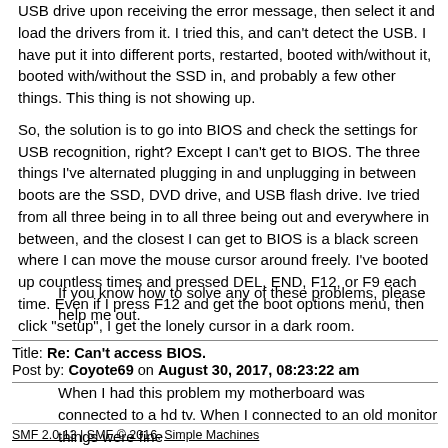USB drive upon receiving the error message, then select it and load the drivers from it. I tried this, and can't detect the USB. I have put it into different ports, restarted, booted with/without it, booted with/without the SSD in, and probably a few other things. This thing is not showing up.
So, the solution is to go into BIOS and check the settings for USB recognition, right?  Except I can't get to BIOS. The three things I've alternated plugging in and unplugging in between boots are the SSD, DVD drive, and USB flash drive. Ive tried from all three being in to all three being out and everywhere in between, and the closest I can get to BIOS is a black screen where I can move the mouse cursor around freely. I've booted up countless times and pressed DEL, END, F12, or F9 each time. Even if I press F12 and get the boot options menu, then click "setup", I get the lonely cursor in a dark room.
If you know how to solve any of these problems, please help me out.
Title: Re: Can't access BIOS.
Post by: Coyote69 on August 30, 2017, 08:23:22 am
When I had this problem my motherboard was connected to a hd tv. When I connected to an old monitor things were fine
SMF 2.0.13 | SMF © 2016, Simple Machines